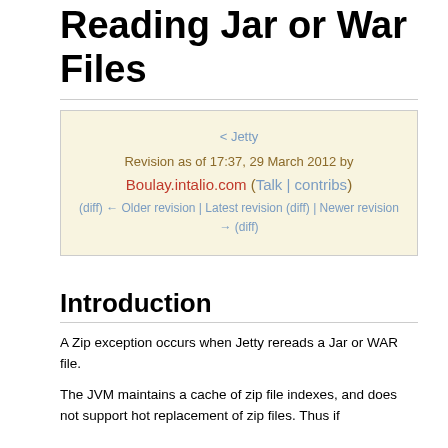Reading Jar or War Files
< Jetty
Revision as of 17:37, 29 March 2012 by Boulay.intalio.com (Talk | contribs)
(diff) ← Older revision | Latest revision (diff) | Newer revision → (diff)
Introduction
A Zip exception occurs when Jetty rereads a Jar or WAR file.
The JVM maintains a cache of zip file indexes, and does not support hot replacement of zip files. Thus if